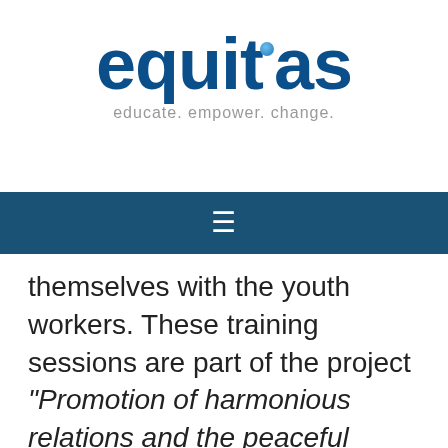[Figure (logo): Equitas logo with blue text and tagline 'educate. empower. change.']
≡
themselves with the youth workers. These training sessions are part of the project “Promotion of harmonious relations and the peaceful resolution of conflicts among children in Jordan, Iraq and Lebanon.” The aim of this project is to strengthen the capacity of ANHRE and other civil society organizations in Jordan, Lebanon and Iraq, to undertake training to promote and strengthen the